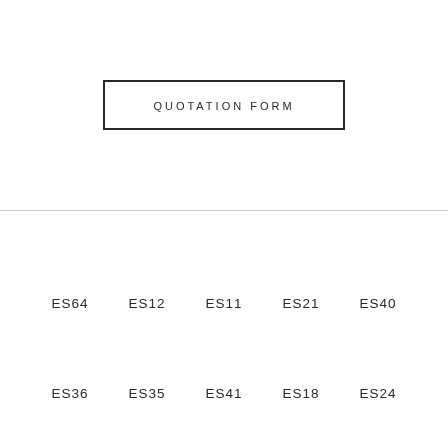QUOTATION FORM
ES64  ES12  ES11  ES21  ES40
ES36  ES35  ES41  ES18  ES24